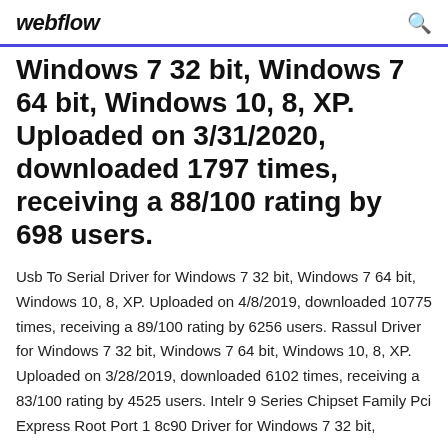webflow
Windows 7 32 bit, Windows 7 64 bit, Windows 10, 8, XP. Uploaded on 3/31/2020, downloaded 1797 times, receiving a 88/100 rating by 698 users.
Usb To Serial Driver for Windows 7 32 bit, Windows 7 64 bit, Windows 10, 8, XP. Uploaded on 4/8/2019, downloaded 10775 times, receiving a 89/100 rating by 6256 users. Rassul Driver for Windows 7 32 bit, Windows 7 64 bit, Windows 10, 8, XP. Uploaded on 3/28/2019, downloaded 6102 times, receiving a 83/100 rating by 4525 users. Intelr 9 Series Chipset Family Pci Express Root Port 1 8c90 Driver for Windows 7 32 bit,